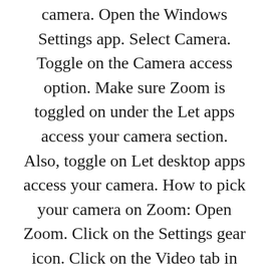camera. Open the Windows Settings app. Select Camera. Toggle on the Camera access option. Make sure Zoom is toggled on under the Let apps access your camera section. Also, toggle on Let desktop apps access your camera. How to pick your camera on Zoom: Open Zoom. Click on the Settings gear icon. Click on the Video tab in the left column. Under Camera , expand the selector and select the camera you want to use.
Related: The best webcams available Zoom microphones: Related: The best